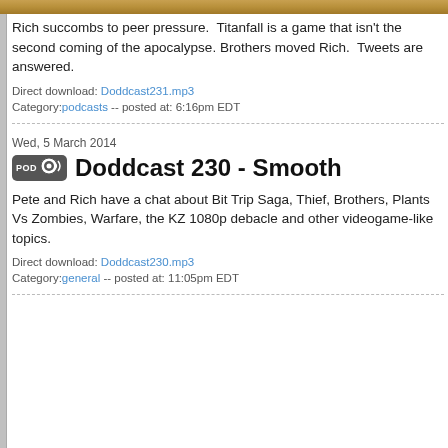[Figure (photo): Top image strip showing a golden-brown animal fur or similar texture]
Rich succombs to peer pressure.  Titanfall is a game that isn't the second coming of the apocalypse. Brothers moved Rich.  Tweets are answered.
Direct download: Doddcast231.mp3
Category:podcasts -- posted at: 6:16pm EDT
Wed, 5 March 2014
Doddcast 230 - Smooth
Pete and Rich have a chat about Bit Trip Saga, Thief, Brothers, Plants Vs Zombies, Warfare, the KZ 1080p debacle and other videogame-like topics.
Direct download: Doddcast230.mp3
Category:general -- posted at: 11:05pm EDT